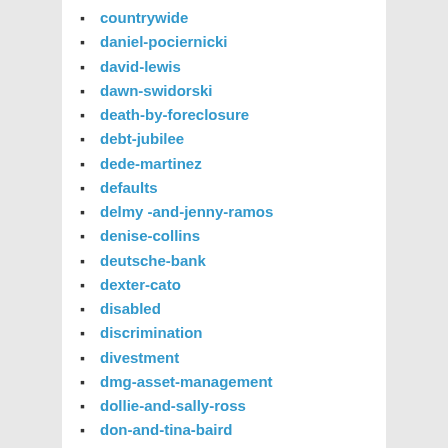countrywide
daniel-pociernicki
david-lewis
dawn-swidorski
death-by-foreclosure
debt-jubilee
dede-martinez
defaults
delmy -and-jenny-ramos
denise-collins
deutsche-bank
dexter-cato
disabled
discrimination
divestment
dmg-asset-management
dollie-and-sally-ross
don-and-tina-baird
donna-zao-vieira
dorothy-crawford
dual-tracking